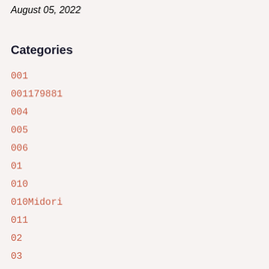August 05, 2022
Categories
001
001179881
004
005
006
01
010
010Midori
011
02
03